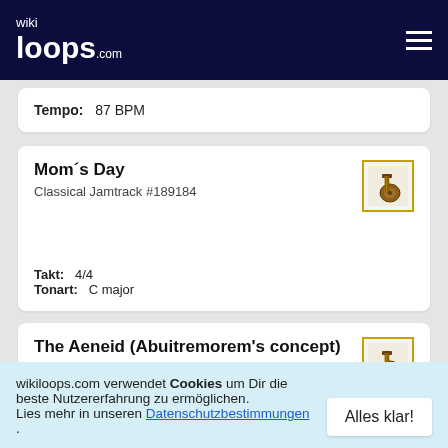wikiloops.com
Tempo: 87 BPM
Mom´s Day
Classical Jamtrack #189184
Takt: 4/4
Tonart: C major
The Aeneid (Abuitremorem's concept)
Classical Jamtrack #218633
wikiloops.com verwendet Cookies um Dir die beste Nutzererfahrung zu ermöglichen. Lies mehr in unseren Datenschutzbestimmungen .